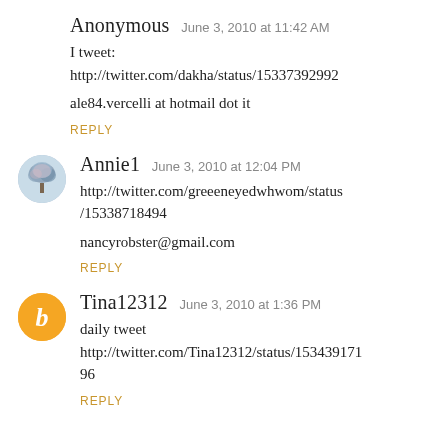Anonymous  June 3, 2010 at 11:42 AM
I tweet:
http://twitter.com/dakha/status/15337392992
ale84.vercelli at hotmail dot it
REPLY
Annie1  June 3, 2010 at 12:04 PM
http://twitter.com/greeeneyedwhwom/status/15338718494
nancyrobster@gmail.com
REPLY
Tina12312  June 3, 2010 at 1:36 PM
daily tweet
http://twitter.com/Tina12312/status/15343917196
REPLY